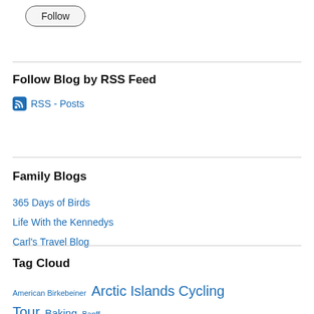[Figure (other): Follow button with rounded border]
Follow Blog by RSS Feed
RSS - Posts
Family Blogs
365 Days of Birds
Life With the Kennedys
Carl's Travel Blog
Tag Cloud
American Birkebeiner  Arctic Islands Cycling Tour  Baking  Banff